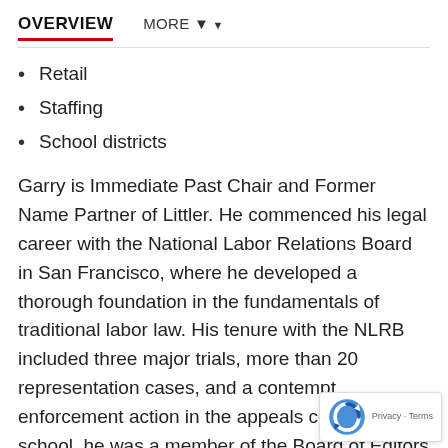OVERVIEW   MORE ▼
Retail
Staffing
School districts
Garry is Immediate Past Chair and Former Name Partner of Littler. He commenced his legal career with the National Labor Relations Board in San Francisco, where he developed a thorough foundation in the fundamentals of traditional labor law. His tenure with the NLRB included three major trials, more than 20 representation cases, and a contempt enforcement action in the appeals court. In law school, he was a member of the Board of Editors and served on the Stanford Law Review